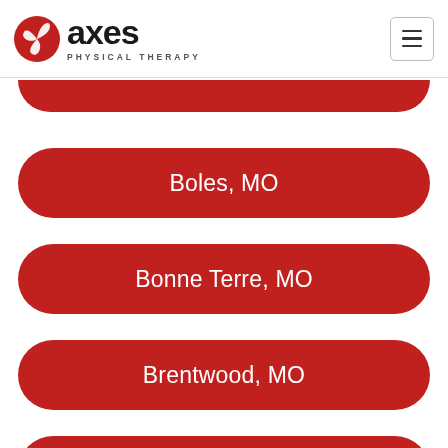[Figure (logo): Axes Physical Therapy logo with red pinwheel icon and text 'axes PHYSICAL THERAPY']
Boles, MO
Bonne Terre, MO
Brentwood, MO
Bridgeton, MO